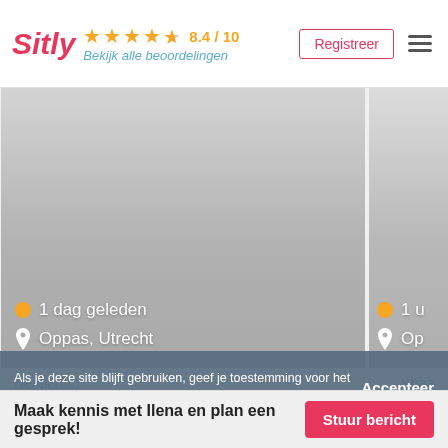Sitly ★★★★½ 8.4 / 10 Bekijk alle beoordelingen
[Figure (screenshot): Two babysitter profile cards side by side with gray gradient background. Left card shows '1 dag geleden' with orange dot and 'Oppas, Utrecht' with location pin. Right card partially visible showing '1 u' and 'Op'.]
Als je deze site blijft gebruiken, geef je toestemming voor het gebruik van cookies. Meer onder instellingen.
Nerell (25)
Khad...
Maak kennis met Ilena en plan een gesprek!